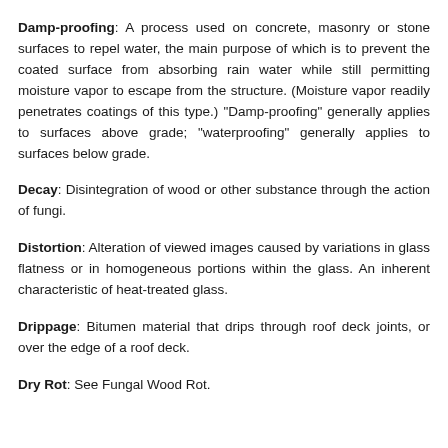Damp-proofing: A process used on concrete, masonry or stone surfaces to repel water, the main purpose of which is to prevent the coated surface from absorbing rain water while still permitting moisture vapor to escape from the structure. (Moisture vapor readily penetrates coatings of this type.) "Damp-proofing" generally applies to surfaces above grade; "waterproofing" generally applies to surfaces below grade.
Decay: Disintegration of wood or other substance through the action of fungi.
Distortion: Alteration of viewed images caused by variations in glass flatness or in homogeneous portions within the glass. An inherent characteristic of heat-treated glass.
Drippage: Bitumen material that drips through roof deck joints, or over the edge of a roof deck.
Dry Rot: See Fungal Wood Rot.